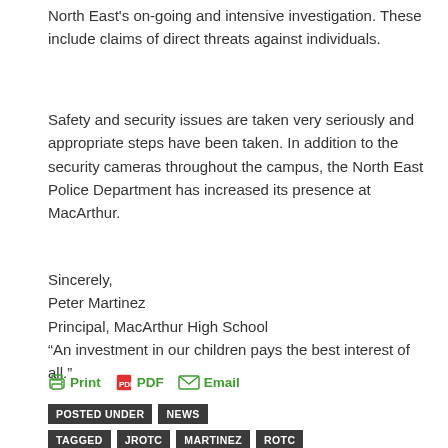North East's on-going and intensive investigation. These include claims of direct threats against individuals.
Safety and security issues are taken very seriously and appropriate steps have been taken. In addition to the security cameras throughout the campus, the North East Police Department has increased its presence at MacArthur.
Sincerely,
Peter Martinez
Principal, MacArthur High School
“An investment in our children pays the best interest of all.”
📷 Print   📄 PDF   ✉ Email
POSTED UNDER   NEWS
TAGGED   JROTC   MARTINEZ   ROTC